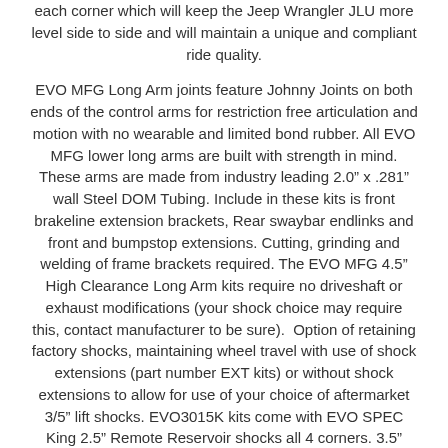each corner which will keep the Jeep Wrangler JLU more level side to side and will maintain a unique and compliant ride quality.
EVO MFG Long Arm joints feature Johnny Joints on both ends of the control arms for restriction free articulation and motion with no wearable and limited bond rubber. All EVO MFG lower long arms are built with strength in mind. These arms are made from industry leading 2.0" x .281" wall Steel DOM Tubing. Include in these kits is front brakeline extension brackets, Rear swaybar endlinks and front and bumpstop extensions. Cutting, grinding and welding of frame brackets required. The EVO MFG 4.5" High Clearance Long Arm kits require no driveshaft or exhaust modifications (your shock choice may require this, contact manufacturer to be sure). Option of retaining factory shocks, maintaining wheel travel with use of shock extensions (part number EXT kits) or without shock extensions to allow for use of your choice of aftermarket 3/5" lift shocks. EVO3015K kits come with EVO SPEC King 2.5" Remote Reservoir shocks all 4 corners. 3.5"